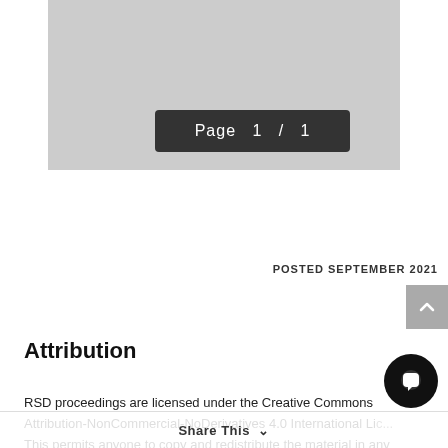[Figure (screenshot): Gray placeholder image box with a dark page indicator overlay reading 'Page 1 / 1']
POSTED SEPTEMBER 2021
Attribution
RSD proceedings are licensed under the Creative Commons Attribution-NonCommercial-NoDerivatives 4.0 International Li... This permits anyone to copy and redistribute the material in any